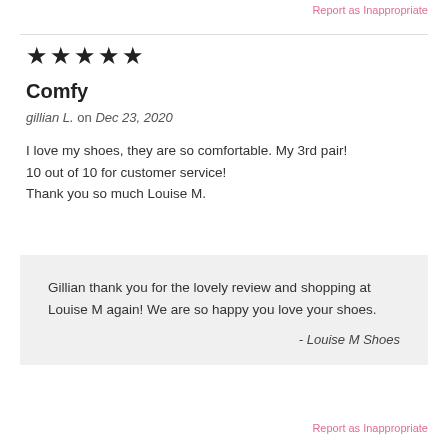Report as Inappropriate
[Figure (other): Five filled star icons indicating a 5-star rating]
Comfy
gillian L. on Dec 23, 2020
I love my shoes, they are so comfortable. My 3rd pair!
10 out of 10 for customer service!
Thank you so much Louise M.
Gillian thank you for the lovely review and shopping at Louise M again! We are so happy you love your shoes.
- Louise M Shoes
Report as Inappropriate